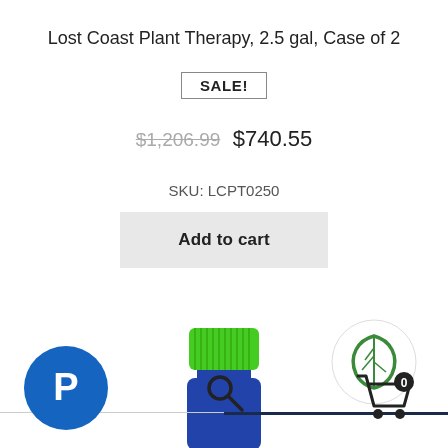Lost Coast Plant Therapy, 2.5 gal, Case of 2
SALE!
$1,206.99  $740.55
SKU: LCPT0250
Add to cart
[Figure (photo): Blue bottle with bright green screw cap lid, partially visible from the top, set against a white background.]
[Figure (logo): Circular logo with white background showing a green leaf/plant icon outline.]
[Figure (logo): PayPal blue circle icon with white P mark, bottom left corner.]
[Figure (illustration): Search magnifying glass icon, bottom center.]
[Figure (illustration): Shopping cart icon with badge showing 0, bottom right.]